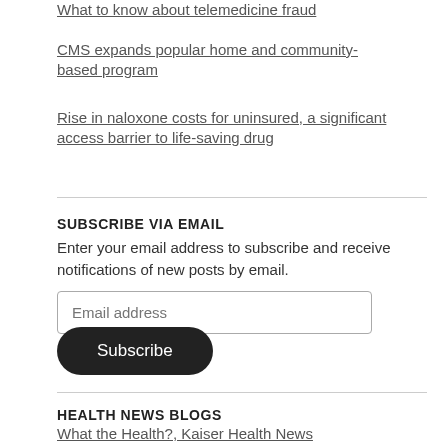What to know about telemedicine fraud
CMS expands popular home and community-based program
Rise in naloxone costs for uninsured, a significant access barrier to life-saving drug
SUBSCRIBE VIA EMAIL
Enter your email address to subscribe and receive notifications of new posts by email.
HEALTH NEWS BLOGS
What the Health?, Kaiser Health News
The Obvious Question, KBIA